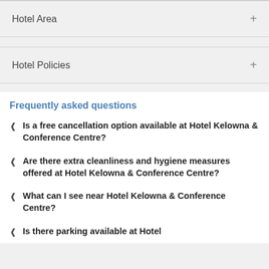Hotel Area
Hotel Policies
Frequently asked questions
Is a free cancellation option available at Hotel Kelowna & Conference Centre?
Are there extra cleanliness and hygiene measures offered at Hotel Kelowna & Conference Centre?
What can I see near Hotel Kelowna & Conference Centre?
Is there parking available at Hotel